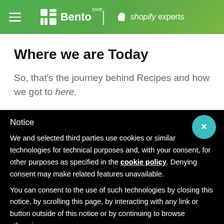Bento SMB | shopify experts
Where we are Today
So, that's the journey behind Recipes and how we got to here.
Notice
We and selected third parties use cookies or similar technologies for technical purposes and, with your consent, for other purposes as specified in the cookie policy. Denying consent may make related features unavailable.
You can consent to the use of such technologies by closing this notice, by scrolling this page, by interacting with any link or button outside of this notice or by continuing to browse otherwise.